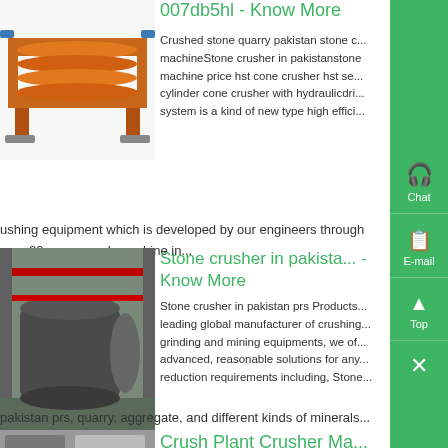[Figure (photo): Orange spiral/screw conveyor industrial machine on white background]
007db5hl - Know More
Crushed stone quarry pakistan stone c... machineStone crusher in pakistanstone machine price hst cone crusher hst se... cylinder cone crusher with hydraulicdri... system is a kind of new type high effici... ushing equipment which is developed by our engineers through over 20... one crush machine in...
[Figure (photo): Industrial factory interior with large cylindrical grinding mill equipment]
Stone crusher in pakista... - Know More
Stone crusher in pakistan prs Products... leading global manufacturer of crushing... grinding and mining equipments, we of... advanced, reasonable solutions for any... reduction requirements including, Stone... pakistan prs, quarry, aggregate, and different kinds of minerals...
[Figure (photo): Partial view of crusher plant machinery]
Crush Plant Crusher Ma...